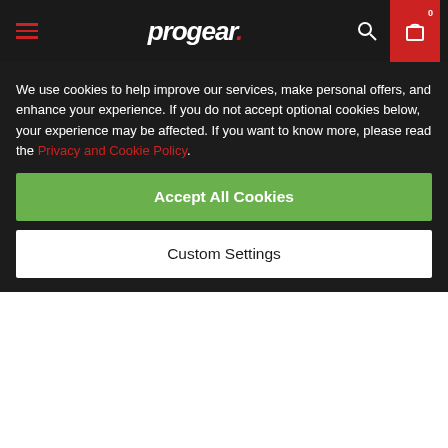progear. [navigation bar with hamburger menu, search, and cart icons showing 0]
https://www.progear.eu/payment-methods/
+ Delivery Cost
We use cookies to help improve our services, make personal offers, and enhance your experience. If you do not accept optional cookies below, your experience may be affected. If you want to know more, please read the Privacy and Cookie Policy.
Accept All Cookies
Custom Settings
Chauvet COREpar 40 USB kompaktne 1x40W D-Fi™ USB LED prožektor
Chauvet COREpar 40 USB on COB (chip-on-board)
miksiida värve terves värvispektri ulatuses ning on D-Fi™ CSBühilduvusega. COREpar 40 USB sisaldab edasijõudnud